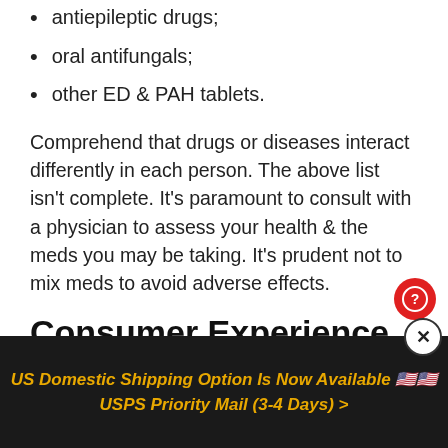antiepileptic drugs;
oral antifungals;
other ED & PAH tablets.
Comprehend that drugs or diseases interact differently in each person. The above list isn't complete. It's paramount to consult with a physician to assess your health & the meds you may be taking. It's prudent not to mix meds to avoid adverse effects.
Consumer Experience
US Domestic Shipping Option Is Now Available 🇺🇸🇺🇸 USPS Priority Mail (3-4 Days) >